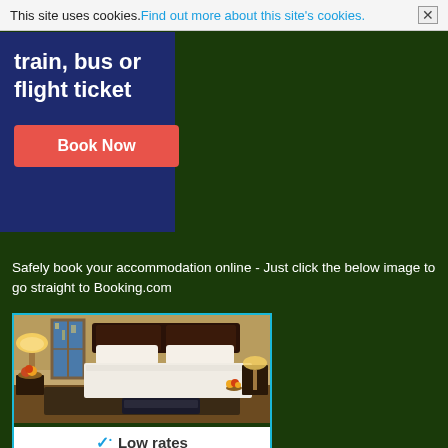This site uses cookies. Find out more about this site's cookies. ✕
[Figure (illustration): Dark navy blue advertisement banner for booking train, bus or flight tickets with a red 'Book Now' button]
Safely book your accommodation online - Just click the below image to go straight to Booking.com
[Figure (photo): Hotel room with a large bed, white linens, nightstands with lamps, and a window view. Below: Booking.com widget showing Low rates and Best price guaranteed badges.]
✓ Low rates
Best price guaranteed